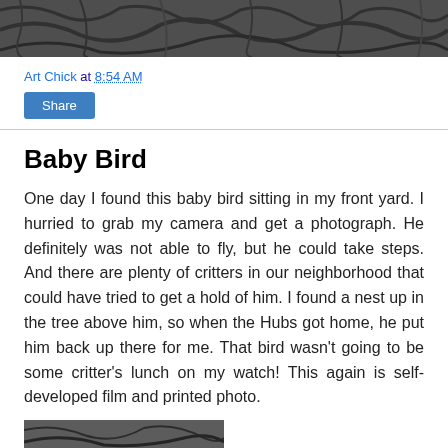[Figure (photo): Black and white photograph showing dense foliage or tree branches with intricate patterns]
Art Chick at 8:54 AM
Share
Baby Bird
One day I found this baby bird sitting in my front yard. I hurried to grab my camera and get a photograph. He definitely was not able to fly, but he could take steps. And there are plenty of critters in our neighborhood that could have tried to get a hold of him. I found a nest up in the tree above him, so when the Hubs got home, he put him back up there for me. That bird wasn't going to be some critter's lunch on my watch! This again is self-developed film and printed photo.
[Figure (photo): Partially visible black and white photograph at the bottom of the page]